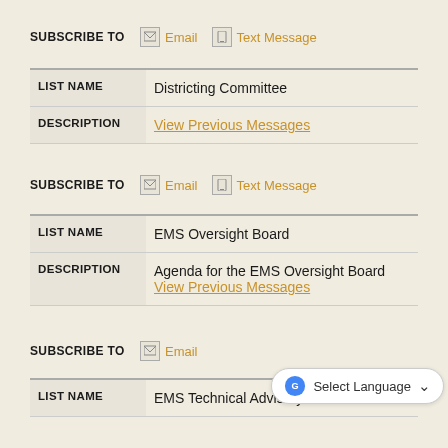SUBSCRIBE TO  Email  Text Message
| LIST NAME | Districting Committee |
| --- | --- |
| DESCRIPTION | View Previous Messages |
SUBSCRIBE TO  Email  Text Message
| LIST NAME | EMS Oversight Board |
| --- | --- |
| DESCRIPTION | Agenda for the EMS Oversight Board
View Previous Messages |
SUBSCRIBE TO  Email  Text Message
| LIST NAME | EMS Technical Advisory Board |
| --- | --- |